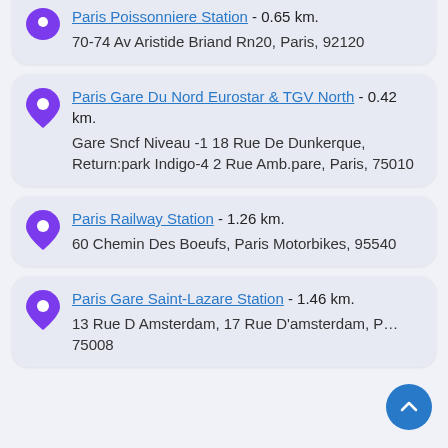Paris Poissonniere Station - 0.65 km. 70-74 Av Aristide Briand Rn20, Paris, 92120
Paris Gare Du Nord Eurostar & TGV North - 0.42 km. Gare Sncf Niveau -1 18 Rue De Dunkerque, Return:park Indigo-4 2 Rue Amb.pare, Paris, 75010
Paris Railway Station - 1.26 km. 60 Chemin Des Boeufs, Paris Motorbikes, 95540
Paris Gare Saint-Lazare Station - 1.46 km. 13 Rue D Amsterdam, 17 Rue D'amsterdam, Paris, 75008